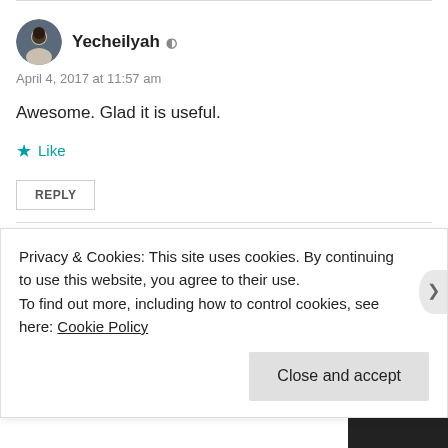Yecheilyah
April 4, 2017 at 11:57 am
Awesome. Glad it is useful.
Like
REPLY
leithunique
Privacy & Cookies: This site uses cookies. By continuing to use this website, you agree to their use.
To find out more, including how to control cookies, see here: Cookie Policy
Close and accept